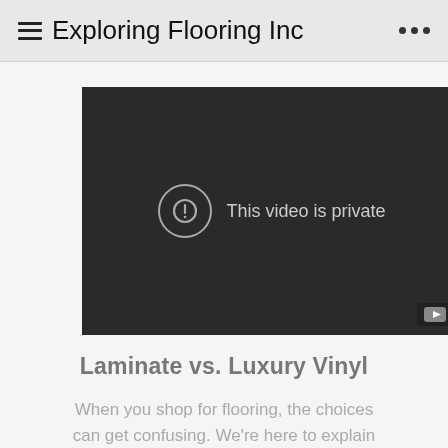Exploring Flooring Inc
[Figure (screenshot): Embedded video player showing a private video error message. Dark background with a circle-exclamation icon and text 'This video is private'. YouTube logo badge in bottom right corner.]
Laminate vs. Luxury Vinyl
When you shop for flooring, the choices can get confusing. We're here to explain the differences between laminate flooring and luxury vinyl flooring. Watch and find